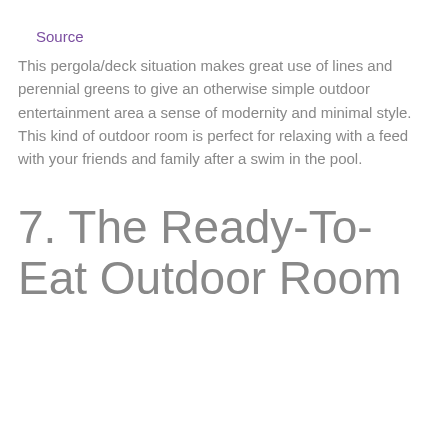Source
This pergola/deck situation makes great use of lines and perennial greens to give an otherwise simple outdoor entertainment area a sense of modernity and minimal style. This kind of outdoor room is perfect for relaxing with a feed with your friends and family after a swim in the pool.
7. The Ready-To-Eat Outdoor Room